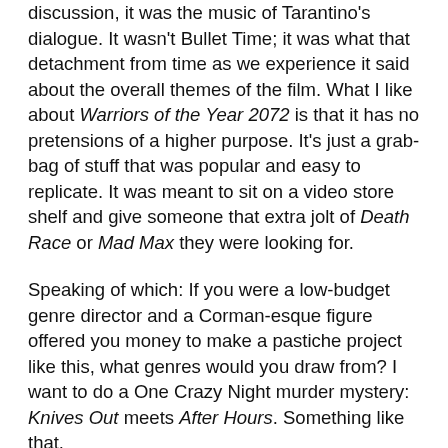discussion, it was the music of Tarantino's dialogue. It wasn't Bullet Time; it was what that detachment from time as we experience it said about the overall themes of the film. What I like about Warriors of the Year 2072 is that it has no pretensions of a higher purpose. It's just a grab-bag of stuff that was popular and easy to replicate. It was meant to sit on a video store shelf and give someone that extra jolt of Death Race or Mad Max they were looking for.
Speaking of which: If you were a low-budget genre director and a Corman-esque figure offered you money to make a pastiche project like this, what genres would you draw from? I want to do a One Crazy Night murder mystery: Knives Out meets After Hours. Something like that.
Adam: I would 100% watch a Knives Out-After Hours hybrid. I've always wanted to make a slasher romance where the audience thinks they're just seeing a slasher movie but that part ends ⅔ of the way through and the last act is a Final Girl realizing she likes the Final Guy or Girl and wants to have a relationship with them. My other dream project is a Fast and Furious meets Enter the Dragon mash-